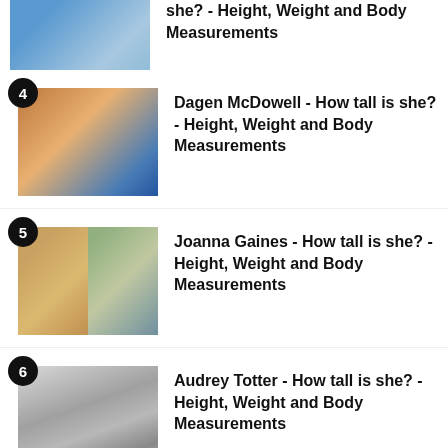she? - Height, Weight and Body Measurements
Dagen McDowell - How tall is she? - Height, Weight and Body Measurements
Joanna Gaines - How tall is she? - Height, Weight and Body Measurements
Audrey Totter - How tall is she? - Height, Weight and Body Measurements
Cyd Charisse - How tall is she? -